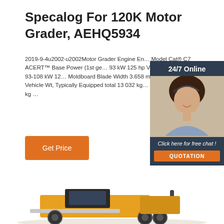Specalog For 120K Motor Grader, AEHQ5934
2019-9-4u2002·u2002Motor Grader Engine Engine Model Cat® C7 ACERT™ Base Power (1st ge… 93 kW 125 hp VHP range – Net 93-108 kW 12… Moldboard Blade Width 3.658 m 12 ft Weights Vehicle Wt, Typically Equipped total 13 032 kg… front axle 3910 kg …
[Figure (other): Orange 'Get Price' button]
[Figure (other): 24/7 Online chat widget with a customer service representative photo, 'Click here for free chat!' text, and an orange QUOTATION button]
[Figure (photo): Partial view of a yellow/orange Caterpillar 120K Motor Grader machine at the bottom of the page]